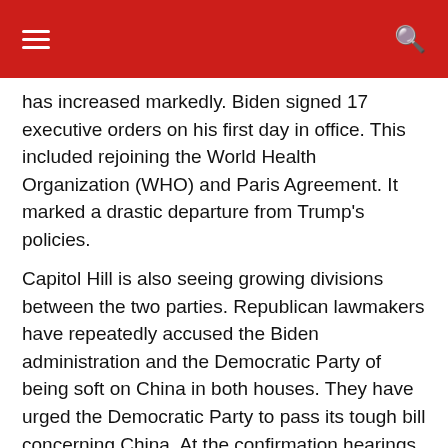has increased markedly. Biden signed 17 executive orders on his first day in office. This included rejoining the World Health Organization (WHO) and Paris Agreement. It marked a drastic departure from Trump's policies.
Capitol Hill is also seeing growing divisions between the two parties. Republican lawmakers have repeatedly accused the Biden administration and the Democratic Party of being soft on China in both houses. They have urged the Democratic Party to pass its tough bill concerning China. At the confirmation hearings for cabinet candidates, including the secretary of state and the defense secretary, candidates were all grilled by Republican senators to make a tough stance toward China.
Even on the issue of Confucius Institutes, Republicans are repeating their groundless allegations. They are aiming to